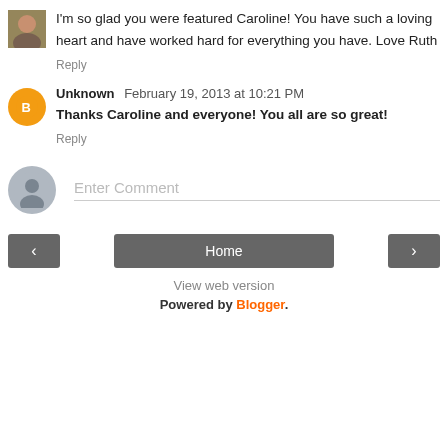I'm so glad you were featured Caroline! You have such a loving heart and have worked hard for everything you have. Love Ruth
Reply
Unknown  February 19, 2013 at 10:21 PM
Thanks Caroline and everyone! You all are so great!
Reply
Enter Comment
Home
View web version
Powered by Blogger.